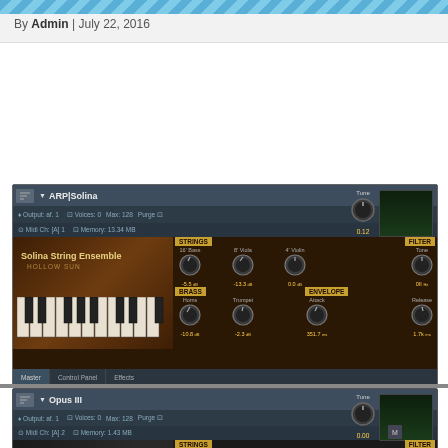By Admin | July 22, 2016
[Figure (screenshot): Kontakt instrument plugin UI: ARP|Solina - Solina String Ensemble by Hollow Sun. Shows STRINGS section with 16' Bass (-5.5), 8' Viola (-13.3), 4' Violin (0.0) knobs; BRASS section with Horns (-10.8), Trumpet (-2.3) knobs; FILTER section with Tone knob (0II Hz); ENVELOPE section with Attack (351.7ms) and Release (1.7k ms) knobs. Tune: 0.12. Tab bar: Master, Control Panel, Effects.]
[Figure (screenshot): Kontakt instrument plugin UI: Opus III - Moog Opus III by Hollow Sun. Shows STRINGS section with 8' (-00) and 4' (0.0) knobs; FILTER section with Tone knob (0II Hz); ENVELOPE section with Attack (575.7ms) and Release (~2.0k ms) knobs. Tune: 0.00. Tab bar: Master, Control Panel, Effects.]
[Figure (screenshot): Partial view of a third Kontakt instrument panel at the bottom of the page, brown/orange colored.]